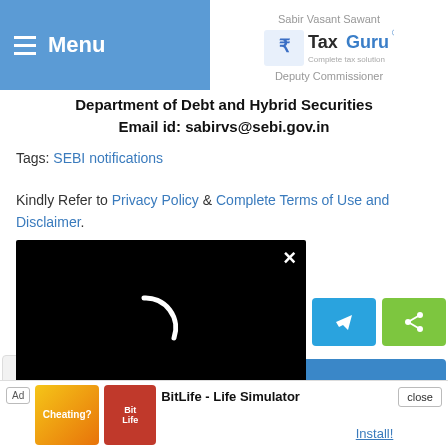Menu | TaxGuru - Complete tax solution | Sabir Vasant Sawant | Deputy Commissioner
Department of Debt and Hybrid Securities
Email id: sabirvs@sebi.gov.in
Tags: SEBI notifications
Kindly Refer to Privacy Policy & Complete Terms of Use and Disclaimer.
[Figure (screenshot): Black video player overlay with a white loading arc spinner and a close (×) button in the top right]
[Figure (screenshot): Social share buttons: LinkedIn (blue), Telegram (light blue), Share (green)]
for Latest updates on ny Law, Corporate Laws ted subjects.
Join us on Whatsapp
GROUP LINK
[Figure (screenshot): Ad banner: BitLife - Life Simulator app advertisement with Install button and close button]